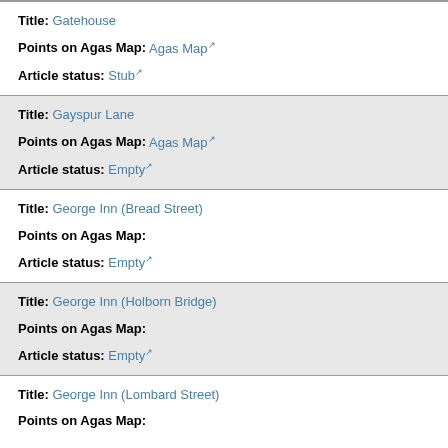Title: Gatehouse | Points on Agas Map: Agas Map | Article status: Stub
Title: Gayspur Lane | Points on Agas Map: Agas Map | Article status: Empty
Title: George Inn (Bread Street) | Points on Agas Map: | Article status: Empty
Title: George Inn (Holborn Bridge) | Points on Agas Map: | Article status: Empty
Title: George Inn (Lombard Street) | Points on Agas Map: